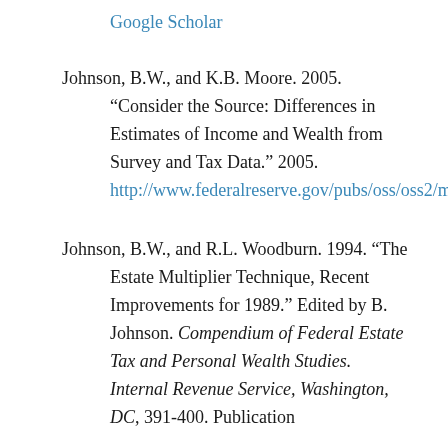Google Scholar
Johnson, B.W., and K.B. Moore. 2005. “Consider the Source: Differences in Estimates of Income and Wealth from Survey and Tax Data.” 2005. http://www.federalreserve.gov/pubs/oss/oss2/method.html.
Johnson, B.W., and R.L. Woodburn. 1994. “The Estate Multiplier Technique, Recent Improvements for 1989.” Edited by B. Johnson. Compendium of Federal Estate Tax and Personal Wealth Studies. Internal Revenue Service, Washington, DC, 391-400. Publication